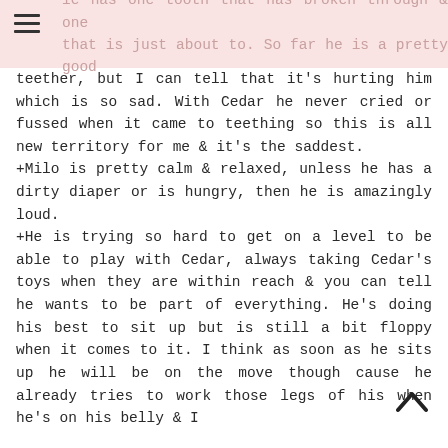le has one tooth that has broken through & one that is just about to. So far he is a pretty good
teether, but I can tell that it's hurting him which is so sad. With Cedar he never cried or fussed when it came to teething so this is all new territory for me & it's the saddest.
+Milo is pretty calm & relaxed, unless he has a dirty diaper or is hungry, then he is amazingly loud.
+He is trying so hard to get on a level to be able to play with Cedar, always taking Cedar's toys when they are within reach & you can tell he wants to be part of everything. He's doing his best to sit up but is still a bit floppy when it comes to it. I think as soon as he sits up he will be on the move though cause he already tries to work those legs of his when he's on his belly & I